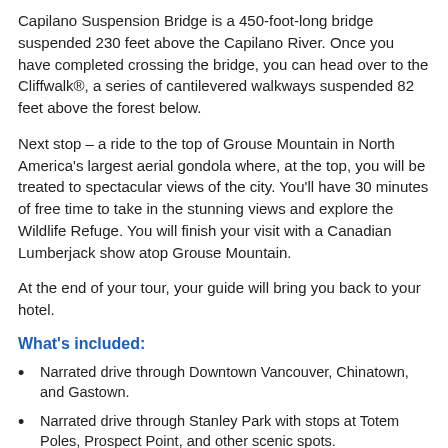Capilano Suspension Bridge is a 450-foot-long bridge suspended 230 feet above the Capilano River. Once you have completed crossing the bridge, you can head over to the Cliffwalk®, a series of cantilevered walkways suspended 82 feet above the forest below.
Next stop – a ride to the top of Grouse Mountain in North America's largest aerial gondola where, at the top, you will be treated to spectacular views of the city. You'll have 30 minutes of free time to take in the stunning views and explore the Wildlife Refuge. You will finish your visit with a Canadian Lumberjack show atop Grouse Mountain.
At the end of your tour, your guide will bring you back to your hotel.
What's included:
Narrated drive through Downtown Vancouver, Chinatown, and Gastown.
Narrated drive through Stanley Park with stops at Totem Poles, Prospect Point, and other scenic spots.
Ride to the top of Vancouver Lookout for a a 360° view of the city and surrounding mountains.
1- hour Vancouver Harbour Cruise. (exact operating dates may vary annually depending on weather).
Visit to Granville Island Market (food available for purchase).